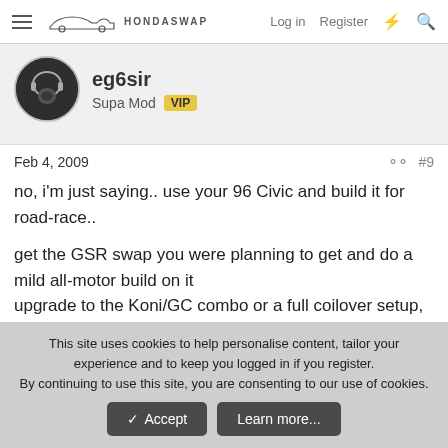HondaSwap — Log in  Register
eg6sir
Supa Mod  VIP
Feb 4, 2009  #9
no, i'm just saying.. use your 96 Civic and build it for road-race..

get the GSR swap you were planning to get and do a mild all-motor build on it
upgrade to the Koni/GC combo or a full coilover setup, sway bars etc..
get a set of lightweight rims w/ sticky tires for track racing and a set of whatever for daily driving
This site uses cookies to help personalise content, tailor your experience and to keep you logged in if you register.
By continuing to use this site, you are consenting to our use of cookies.
✓ Accept    Learn more...